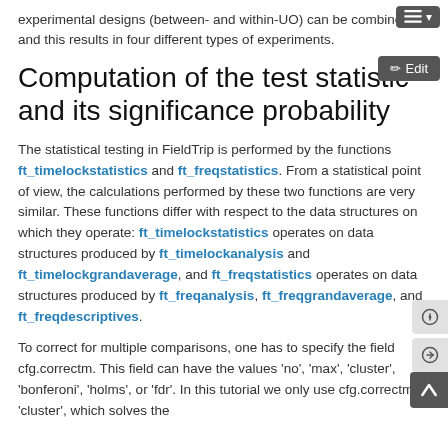experimental designs (between- and within-UO) can be combined and this results in four different types of experiments.
Computation of the test statistic and its significance probability
The statistical testing in FieldTrip is performed by the functions ft_timelockstatistics and ft_freqstatistics. From a statistical point of view, the calculations performed by these two functions are very similar. These functions differ with respect to the data structures on which they operate: ft_timelockstatistics operates on data structures produced by ft_timelockanalysis and ft_timelockgrandaverage, and ft_freqstatistics operates on data structures produced by ft_freqanalysis, ft_freqgrandaverage, and ft_freqdescriptives.
To correct for multiple comparisons, one has to specify the field cfg.correctm. This field can have the values 'no', 'max', 'cluster', 'bonferoni', 'holms', or 'fdr'. In this tutorial we only use cfg.correctm = 'cluster', which solves the